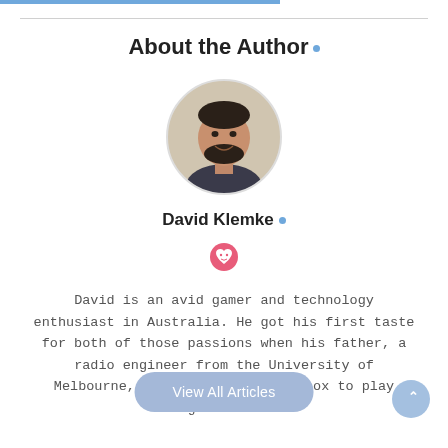About the Author .
[Figure (photo): Circular profile photo of David Klemke, a man with dark beard smiling, with a blurred background.]
David Klemke •
[Figure (illustration): Red/pink heart-shaped icon with a smiley face inside.]
David is an avid gamer and technology enthusiast in Australia. He got his first taste for both of those passions when his father, a radio engineer from the University of Melbourne, gave him an old DOS box to play games on.